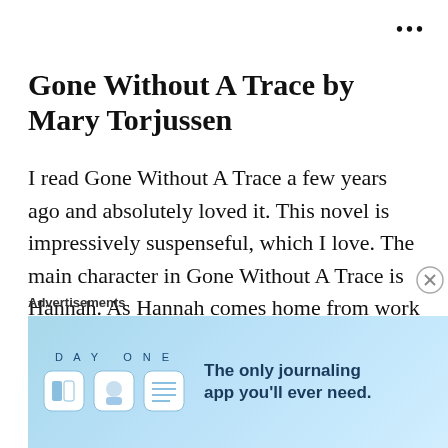•••
Gone Without A Trace by Mary Torjussen
I read Gone Without A Trace a few years ago and absolutely loved it. This novel is impressively suspenseful, which I love. The main character in Gone Without A Trace is Hannah. As Hannah comes home from work on an ordinary weekday, she comes home to find her boyfriend Matt is gone. And not only
Advertisements
[Figure (screenshot): DAY ONE journaling app advertisement banner with app icons and tagline 'The only journaling app you'll ever need.']